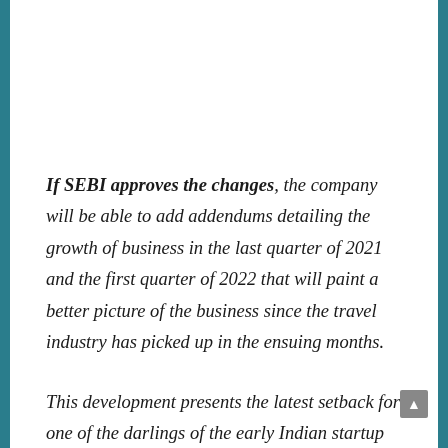If SEBI approves the changes, the company will be able to add addendums detailing the growth of business in the last quarter of 2021 and the first quarter of 2022 that will paint a better picture of the business since the travel industry has picked up in the ensuing months.
This development presents the latest setback for one of the darlings of the early Indian startup ecosystem